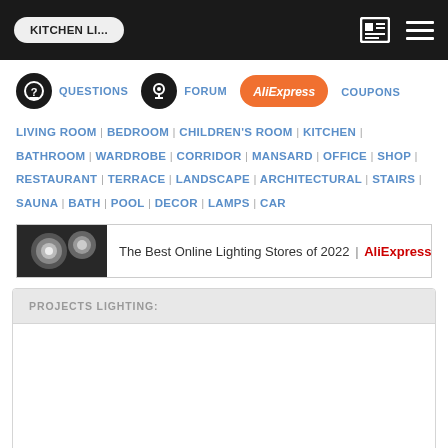KITCHEN LI...
QUESTIONS
FORUM
AliExpress
COUPONS
LIVING ROOM | BEDROOM | CHILDREN'S ROOM | KITCHEN | BATHROOM | WARDROBE | CORRIDOR | MANSARD | OFFICE | SHOP | RESTAURANT | TERRACE | LANDSCAPE | ARCHITECTURAL | STAIRS | SAUNA | BATH | POOL | DECOR | LAMPS | CAR
[Figure (screenshot): Banner advertisement: The Best Online Lighting Stores of 2022 | AliExpress, with decorative lamp images on the left]
PROJECTS LIGHTING: